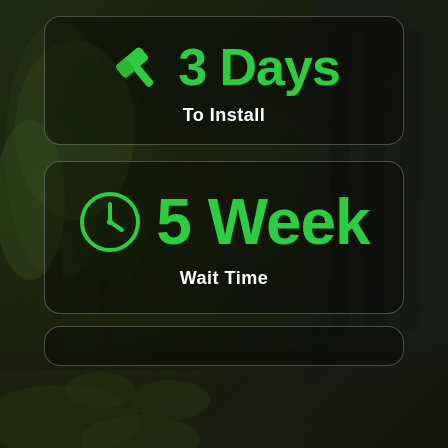[Figure (infographic): Background photo of a modern garden/outdoor structure with trees and glass sliding doors, with dark overlay]
3 Days
To Install
5 Week
Wait Time